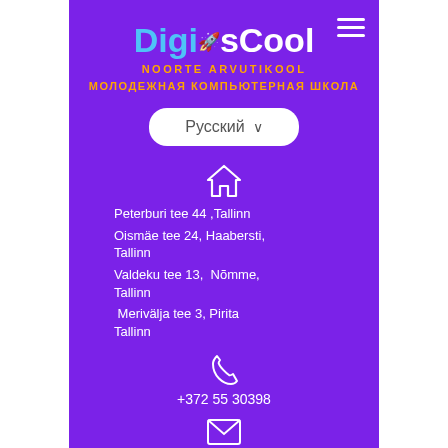[Figure (logo): DigisCool logo with rocket icon, cyan and white text]
NOORTE ARVUTIKOOL
МОЛОДЕЖНАЯ КОМПЬЮТЕРНАЯ ШКОЛА
Русский ∨
[Figure (illustration): House/home icon outline in white]
Peterburi tee 44 ,Tallinn
Oismäe tee 24, Haabersti, Tallinn
Valdeku tee 13,  Nõmme, Tallinn
Merivälja tee 3, Pirita Tallinn
[Figure (illustration): Phone/telephone icon in white]
+372 55 30398
[Figure (illustration): Envelope/email icon in white]
info@digiscool.ee